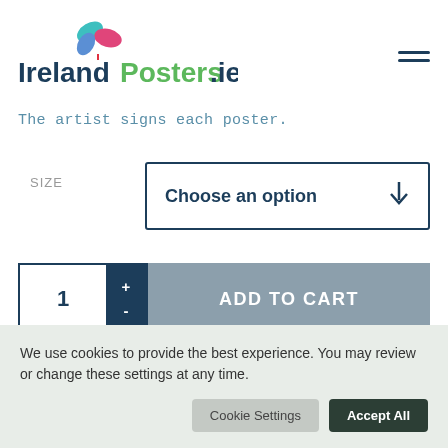[Figure (logo): IrelandPosters.ie logo with colorful leaf/flower graphic above text. 'Ireland' in dark navy, 'Posters' in green, '.ie' in dark navy.]
The artist signs each poster.
SIZE
Choose an option
1
ADD TO CART
We use cookies to provide the best experience. You may review or change these settings at any time.
Cookie Settings
Accept All